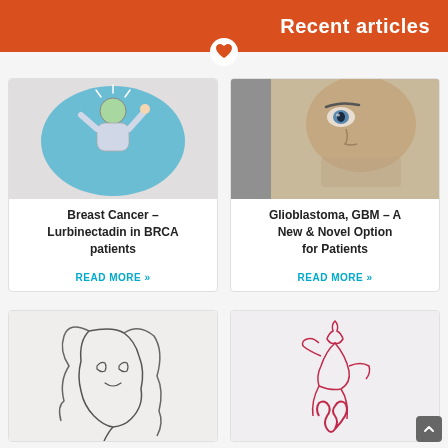Recent articles
[Figure (illustration): Cartoon illustration of a cheerful person with green hair raising hands on a blue oval background]
Breast Cancer – Lurbinectadin in BRCA patients
READ MORE »
[Figure (photo): Close-up photo of a man's face looking upward, with stubble]
Glioblastoma, GBM – A New & Novel Option for Patients
READ MORE »
[Figure (illustration): Line art drawing of a woman's face profile in continuous line style]
[Figure (illustration): Line art drawing of a woman's figure with a pink ribbon, continuous line style]